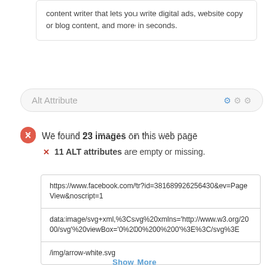content writer that lets you write digital ads, website copy or blog content, and more in seconds.
Alt Attribute
We found 23 images on this web page
11 ALT attributes are empty or missing.
| https://www.facebook.com/tr?id=381689926256430&ev=PageView&noscript=1 |
| data:image/svg+xml,%3Csvg%20xmlns='http://www.w3.org/2000/svg'%20viewBox='0%200%200%200'%3E%3C/svg%3E |
| /img/arrow-white.svg |
Show More